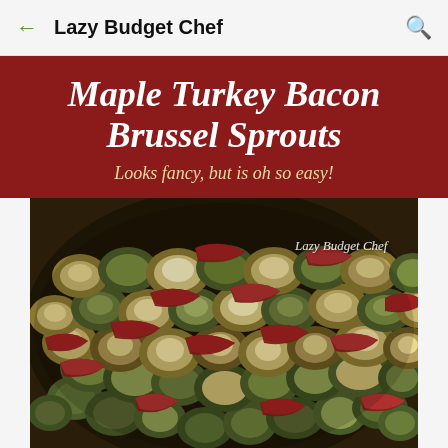Lazy Budget Chef
Maple Turkey Bacon Brussel Sprouts
Looks fancy, but is oh so easy!
[Figure (photo): Close-up photo of roasted brussel sprouts mixed with crumbled turkey bacon pieces on a baking sheet, with a watermark reading 'Lazy Budget Chef']